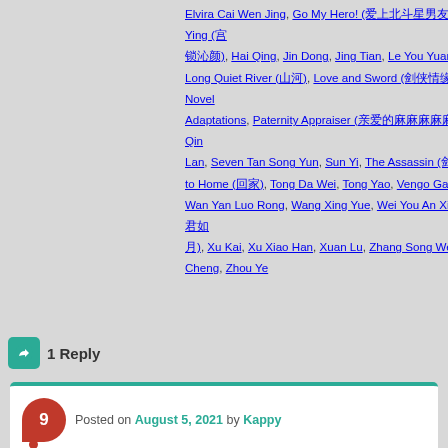Elvira Cai Wen Jing, Go My Hero! (爱上北斗星男友), Gong Su Jing Ying (宫锁沁颜), Hai Qing, Jin Dong, Jing Tian, Le You Yuan (乐游原), Life is a Long Quiet River (山河), Love and Sword (剑侠情缘), Mu Zi Yang, Novel Adaptations, Paternity Appraiser (亲爱的麻麻麻麻麻), Peng Xiao Ran, Qin Lan, Seven Tan Song Yun, Sun Yi, The Assassin (剑客), The Road to Home (回家), Tong Da Wei, Tong Yao, Vengo Gao Wei Guang, Wan Yan Luo Rong, Wang Xing Yue, Wei You An Xiang Lai (愿我如星君如月), Xu Kai, Xu Xiao Han, Xuan Lu, Zhang Song Wen, Zheng Ye Cheng, Zhou Ye
1 Reply
Posted on August 5, 2021 by Kappy
Cheng Yi and Zhang Yu Xi's The Promise of Chang'an changes name to Yu Jun Ge ahead of broadcast
[Figure (photo): Photo of cast members from the drama]